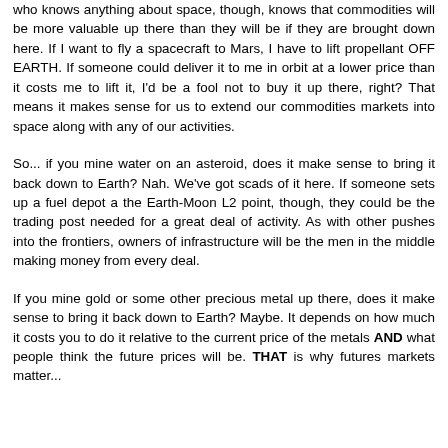who knows anything about space, though, knows that commodities will be more valuable up there than they will be if they are brought down here. If I want to fly a spacecraft to Mars, I have to lift propellant OFF EARTH. If someone could deliver it to me in orbit at a lower price than it costs me to lift it, I'd be a fool not to buy it up there, right? That means it makes sense for us to extend our commodities markets into space along with any of our activities.
So... if you mine water on an asteroid, does it make sense to bring it back down to Earth? Nah. We've got scads of it here. If someone sets up a fuel depot a the Earth-Moon L2 point, though, they could be the trading post needed for a great deal of activity. As with other pushes into the frontiers, owners of infrastructure will be the men in the middle making money from every deal.
If you mine gold or some other precious metal up there, does it make sense to bring it back down to Earth? Maybe. It depends on how much it costs you to do it relative to the current price of the metals AND what people think the future prices will be. THAT is why futures markets matter...